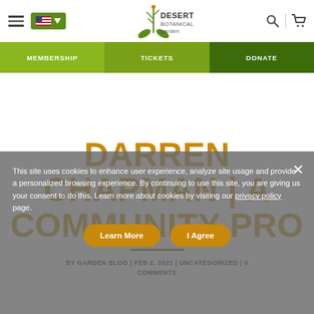[Figure (logo): Desert Botanical Garden logo with plant illustration]
MEMBERSHIP | TICKETS | DONATE
DARREN CHAPMAN | A COMMUNITY PRO
BY GARDEN BLOG | FEB 2, 2021 | UNCATEGORIZED | 0 COMMENTS
This site uses cookies to enhance user experience, analyze site usage and provide a personalized browsing experience. By continuing to use this site, you are giving us your consent to do this. Learn more about cookies by visiting our privacy policy page.